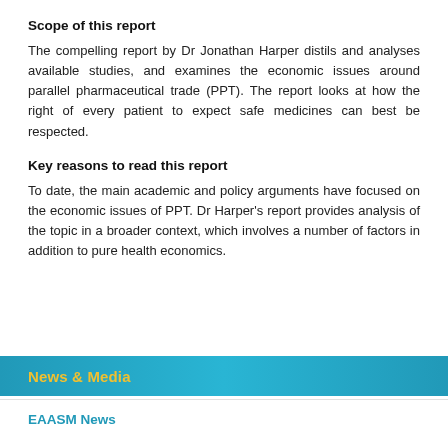Scope of this report
The compelling report by Dr Jonathan Harper distils and analyses available studies, and examines the economic issues around parallel pharmaceutical trade (PPT). The report looks at how the right of every patient to expect safe medicines can best be respected.
Key reasons to read this report
To date, the main academic and policy arguments have focused on the economic issues of PPT. Dr Harper's report provides analysis of the topic in a broader context, which involves a number of factors in addition to pure health economics.
News & Media
EAASM News